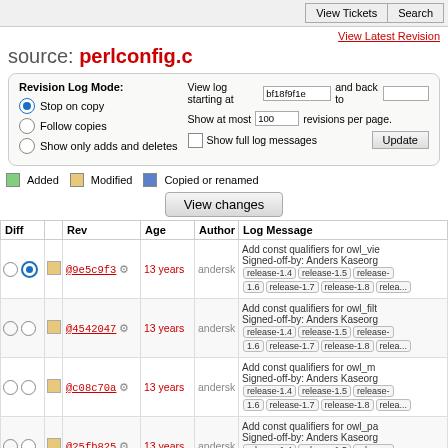View Tickets | Search
View Latest Revision
source: perlconfig.c
Revision Log Mode: Stop on copy, Follow copies, Show only adds and deletes. View log starting at bf18f9f1e and back to. Show at most 100 revisions per page. Show full log messages. Update.
Added  Modified  Copied or renamed
View changes
| Diff |  | Rev | Age | Author | Log Message |
| --- | --- | --- | --- | --- | --- |
| ○ ● | ▪ | @9e5c9f3 ⚙ | 13 years | andersk | Add const qualifiers for owl_vi... Signed-off-by: Anders Kaseorg... release-1.4 release-1.5 release-1.6 release-1.7 release-1.8 relea... |
| ○ ○ | ▪ | @4542047 ⚙ | 13 years | andersk | Add const qualifiers for owl_filt... Signed-off-by: Anders Kaseorg... release-1.4 release-1.5 release-1.6 release-1.7 release-1.8 relea... |
| ○ ○ | ▪ | @c08c70a ⚙ | 13 years | andersk | Add const qualifiers for owl_m... Signed-off-by: Anders Kaseorg... release-1.4 release-1.5 release-1.6 release-1.7 release-1.8 relea... |
| ○ ○ | ▪ | @25fb825 ⚙ | 13 years | andersk | Add const qualifiers for owl_pa... Signed-off-by: Anders Kaseorg... release-1.4 release-1.5 release-1.6 release-1.7 release-1.8 relea... |